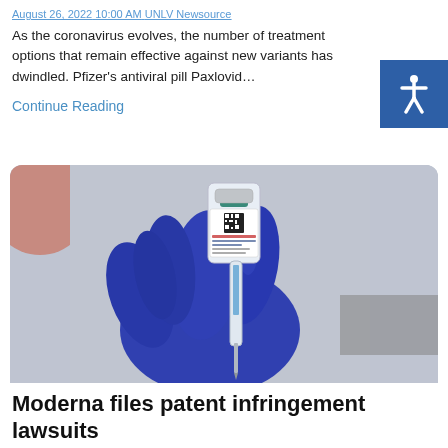August 26, 2022 10:00 AM · UNLV Newsource
As the coronavirus evolves, the number of treatment options that remain effective against new variants has dwindled. Pfizer’s antiviral pill Paxlovid…
Continue Reading
[Figure (photo): A gloved hand in a blue medical glove holds a vaccine vial and syringe. The vial has a label with a QR code.]
Moderna files patent infringement lawsuits